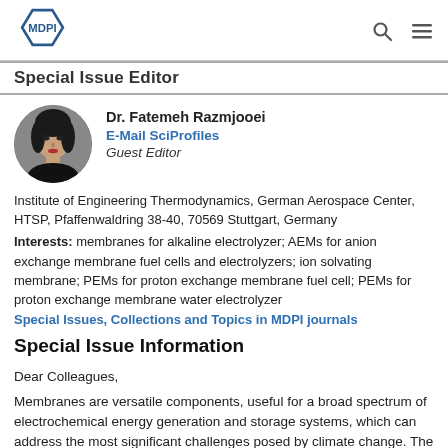MDPI [logo]
Special Issue Editor
[Figure (photo): Portrait photo of Dr. Fatemeh Razmjooei, a woman with dark hair wearing a black outfit]
Dr. Fatemeh Razmjooei
E-Mail SciProfiles
Guest Editor
Institute of Engineering Thermodynamics, German Aerospace Center, HTSP, Pfaffenwaldring 38-40, 70569 Stuttgart, Germany
Interests: membranes for alkaline electrolyzer; AEMs for anion exchange membrane fuel cells and electrolyzers; ion solvating membrane; PEMs for proton exchange membrane fuel cell; PEMs for proton exchange membrane water electrolyzer
Special Issues, Collections and Topics in MDPI journals
Special Issue Information
Dear Colleagues,
Membranes are versatile components, useful for a broad spectrum of electrochemical energy generation and storage systems, which can address the most significant challenges posed by climate change. The